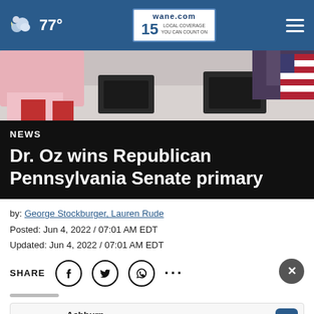77° | wane.com 15 LOCAL COVERAGE YOU CAN COUNT ON
[Figure (photo): Partial view of people near a table with dark laptop/device covers, with colorful clothing visible, and American flag in background]
NEWS
Dr. Oz wins Republican Pennsylvania Senate primary
by: George Stockburger, Lauren Rude
Posted: Jun 4, 2022 / 07:01 AM EDT
Updated: Jun 4, 2022 / 07:01 AM EDT
SHARE
[Figure (infographic): Ad banner: Ashburn — 20020 Ashbrook Commons Plaza, Ste. with SweetFrog logo and navigation arrow icon]
(WUTM) – Celebrity television doctor Mehmet Oz has